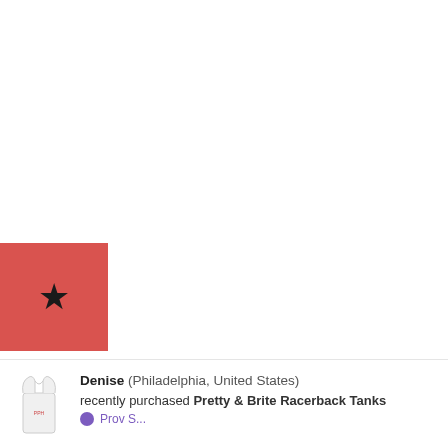[Figure (illustration): Red square with a black star icon, positioned at the left edge mid-page]
Denise (Philadelphia, United States) recently purchased Pretty & Brite Racerback Tanks